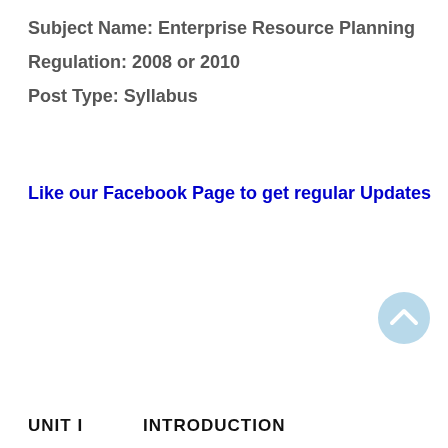Subject Name: Enterprise Resource Planning
Regulation: 2008 or 2010
Post Type: Syllabus
Like our Facebook Page to get regular Updates
[Figure (other): Scroll-to-top circular button with upward chevron arrow, light blue background]
UNIT I                    INTRODUCTION